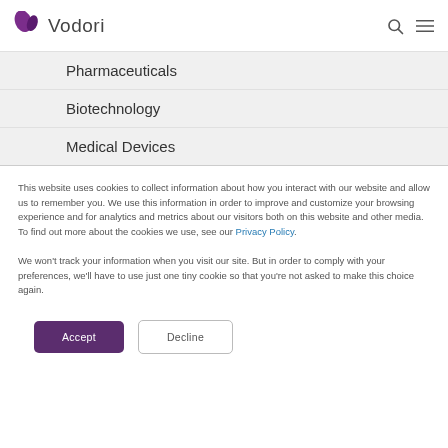[Figure (logo): Vodori logo with purple leaf icon and grey text]
Pharmaceuticals
Biotechnology
Medical Devices
This website uses cookies to collect information about how you interact with our website and allow us to remember you. We use this information in order to improve and customize your browsing experience and for analytics and metrics about our visitors both on this website and other media. To find out more about the cookies we use, see our Privacy Policy.
We won't track your information when you visit our site. But in order to comply with your preferences, we'll have to use just one tiny cookie so that you're not asked to make this choice again.
Accept
Decline